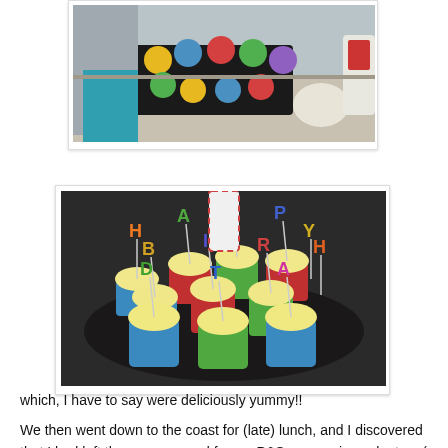[Figure (photo): Photo of a person preparing colorful cupcakes in silicone cups on a baking tray on a counter, with various items visible in the background.]
[Figure (photo): Photo of cupcakes arranged on a dark plate with letter candles spelling HAPPY BIRTH on sticks inserted into each cupcake, with colorful silicone cups in blue, red, and green.]
which, I have to say were deliciously yummy!!
We then went down to the coast for (late) lunch, and I discovered that I had left the memory card for my P&S camera in my laptop :(  We had a lovely meal..and I had two